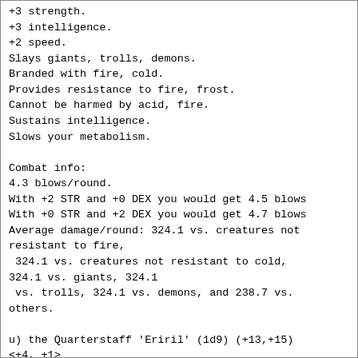+3 strength.
+3 intelligence.
+2 speed.
Slays giants, trolls, demons.
Branded with fire, cold.
Provides resistance to fire, frost.
Cannot be harmed by acid, fire.
Sustains intelligence.
Slows your metabolism.

Combat info:
4.3 blows/round.
With +2 STR and +0 DEX you would get 4.5 blows
With +0 STR and +2 DEX you would get 4.7 blows
Average damage/round: 324.1 vs. creatures not resistant to fire,
 324.1 vs. creatures not resistant to cold,
324.1 vs. giants, 324.1
 vs. trolls, 324.1 vs. demons, and 238.7 vs.
others.

u) the Quarterstaff 'Eriril' (1d9) (+13,+15)
<+4, +1>
 Dropped by a Paladin at 1950 feet (level 39)

 +4 intelligence.
 +4 wisdom.
 Slays evil creatures.
 Provides resistance to light.
 Cannot be harmed by acid, fire.
 Sustains intelligence and life force.